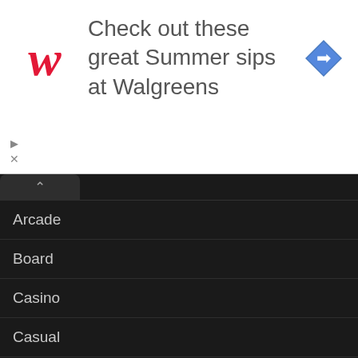[Figure (screenshot): Walgreens advertisement banner with red cursive W logo, text 'Check out these great Summer sips at Walgreens', and a blue diamond-shaped navigation arrow icon. Includes play and close control buttons on the left side.]
Arcade
Board
Casino
Casual
Communication
Games
Media & Video
Mod APK
Music
Music
NSFW